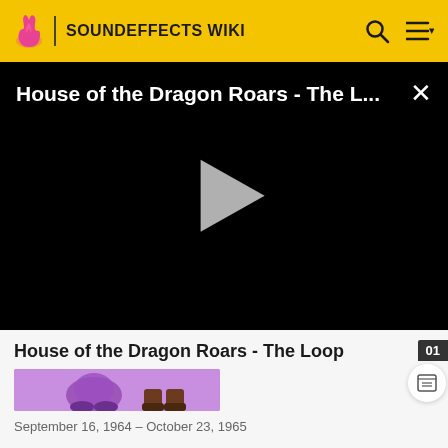SOUNDEFFECTS WIKI
[Figure (screenshot): Video player with black background showing title 'House of the Dragon Roars - The L...' with a play button and close (×) button]
House of the Dragon Roars - The Loop
[Figure (illustration): Purple/lavender banner with animated cartoon character feet/shoes illustration]
September 16, 1964 – October 23, 1965
Peter Potamus and So-So is a 1964 animated series